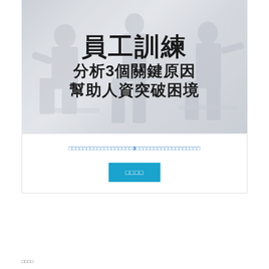[Figure (photo): Hero banner image showing office/training scene with people in background (blurred), overlaid with large bold Chinese text reading: 員工訓練 / 分析3個關鍵原因 / 幫助人資突破困境]
員工訓練 分析3個關鍵原因 幫助人資突破困境
□□□□□□□□□□□□□□□□□□3□□□□□□□□□□□□□□□□□□
□□□□
□□□□